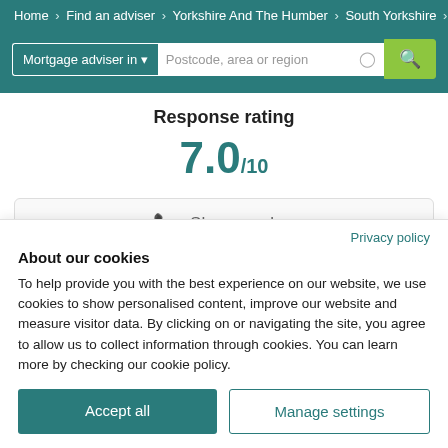Home > Find an adviser > Yorkshire And The Humber > South Yorkshire > R
Mortgage adviser in ▾   Postcode, area or region
Response rating
7.0/10
📞  Show number
Privacy policy
About our cookies
To help provide you with the best experience on our website, we use cookies to show personalised content, improve our website and measure visitor data. By clicking on or navigating the site, you agree to allow us to collect information through cookies. You can learn more by checking our cookie policy.
Accept all
Manage settings